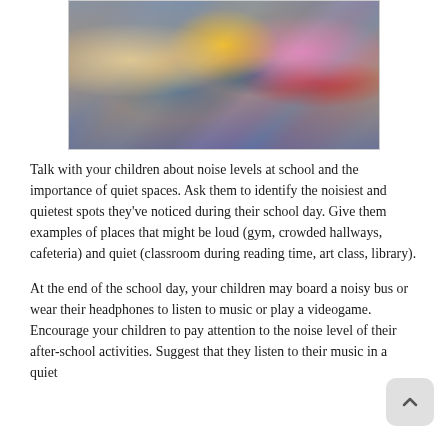[Figure (photo): Group of school-age children with backpacks gathered together, one holding a tablet/phone, standing near a brick wall. They appear happy and social.]
Talk with your children about noise levels at school and the importance of quiet spaces. Ask them to identify the noisiest and quietest spots they've noticed during their school day. Give them examples of places that might be loud (gym, crowded hallways, cafeteria) and quiet (classroom during reading time, art class, library).
At the end of the school day, your children may board a noisy bus or wear their headphones to listen to music or play a videogame. Encourage your children to pay attention to the noise level of their after-school activities. Suggest that they listen to their music in a quiet